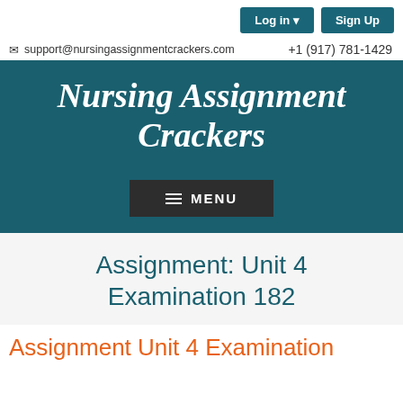Log in ▾   Sign Up
✉ support@nursingassignmentcrackers.com   +1 (917) 781-1429
Nursing Assignment Crackers
☰ MENU
Assignment: Unit 4 Examination 182
Assignment Unit 4 Examination